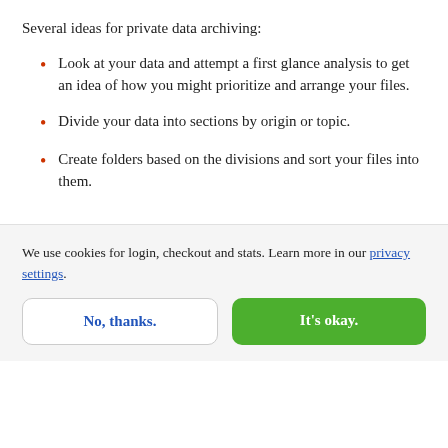Several ideas for private data archiving:
Look at your data and attempt a first glance analysis to get an idea of how you might prioritize and arrange your files.
Divide your data into sections by origin or topic.
Create folders based on the divisions and sort your files into them.
We use cookies for login, checkout and stats. Learn more in our privacy settings.
No, thanks.
It's okay.